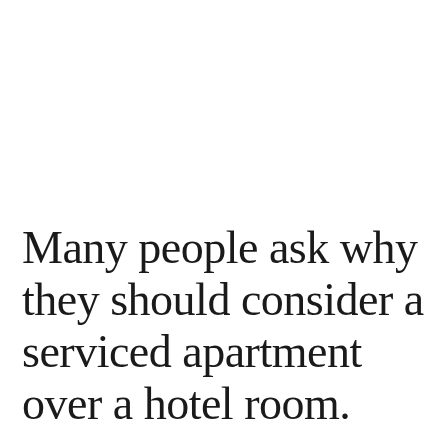Many people ask why they should consider a serviced apartment over a hotel room.